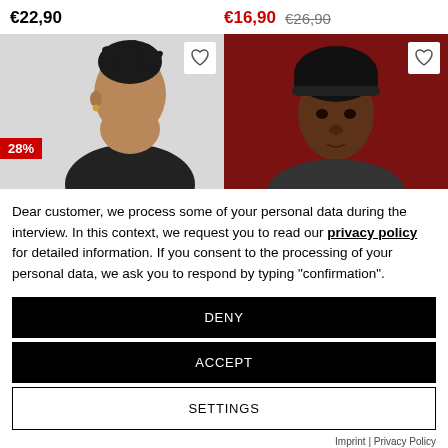€22,90
€16,90  €26,90
[Figure (photo): Two product images: left shows a man with dreadlocks on a light grey background with a 28% discount badge and a heart icon; right shows a man wearing a black beanie on a dark red background with a heart icon.]
Dear customer, we process some of your personal data during the interview. In this context, we request you to read our privacy policy for detailed information. If you consent to the processing of your personal data, we ask you to respond by typing "confirmation".
DENY
ACCEPT
SETTINGS
Imprint | Privacy Policy